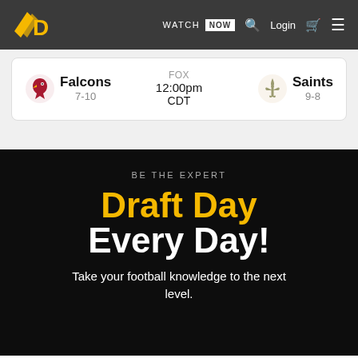WATCH NOW | Login
Falcons 7-10 | FOX 12:00pm CDT | Saints 9-8
BE THE EXPERT
Draft Day Every Day!
Take your football knowledge to the next level.